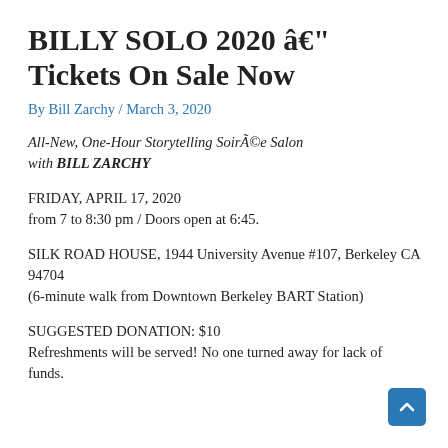BILLY SOLO 2020 â€" Tickets On Sale Now
By Bill Zarchy / March 3, 2020
All-New, One-Hour Storytelling SoirÃ©e Salon with BILL ZARCHY
FRIDAY, APRIL 17, 2020
from 7 to 8:30 pm / Doors open at 6:45.
SILK ROAD HOUSE, 1944 University Avenue #107, Berkeley CA 94704
(6-minute walk from Downtown Berkeley BART Station)
SUGGESTED DONATION: $10
Refreshments will be served! No one turned away for lack of funds.